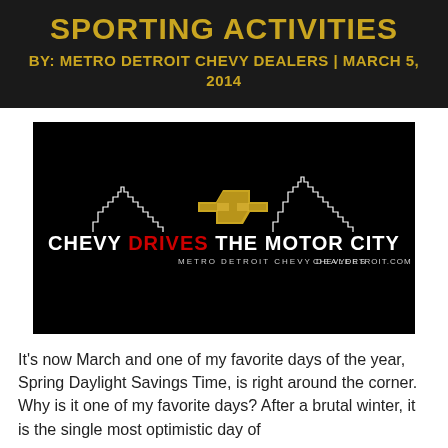SPORTING ACTIVITIES
BY: METRO DETROIT CHEVY DEALERS | MARCH 5, 2014
[Figure (logo): Chevy Drives The Motor City logo on black background with Detroit city skyline silhouette and gold Chevrolet bowtie emblem. Text: CHEVY DRIVES THE MOTOR CITY / METRO DETROIT CHEVY DEALERS / CHEVYDETROIT.COM]
It's now March and one of my favorite days of the year, Spring Daylight Savings Time, is right around the corner. Why is it one of my favorite days? After a brutal winter, it is the single most optimistic day of